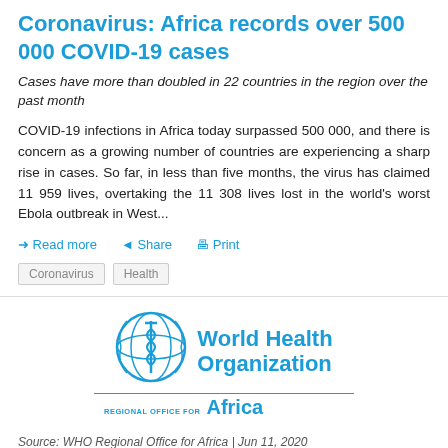Coronavirus: Africa records over 500 000 COVID-19 cases
Cases have more than doubled in 22 countries in the region over the past month
COVID-19 infections in Africa today surpassed 500 000, and there is concern as a growing number of countries are experiencing a sharp rise in cases. So far, in less than five months, the virus has claimed 11 959 lives, overtaking the 11 308 lives lost in the world's worst Ebola outbreak in West...
Read more
Share
Print
Coronavirus
Health
[Figure (logo): World Health Organization Regional Office for Africa logo]
Source: WHO Regional Office for Africa | Jun 11, 2020
Coronavirus - Africa records over 200,000